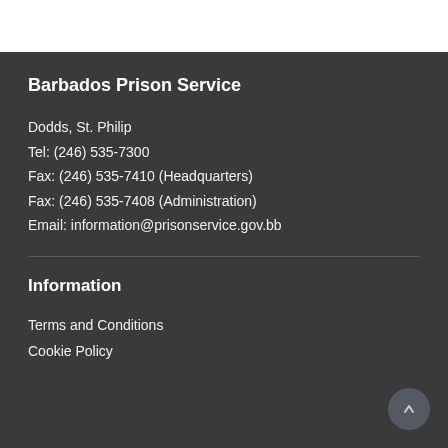Barbados Prison Service
Dodds, St. Philip
Tel: (246) 535-7300
Fax: (246) 535-7410 (Headquarters)
Fax: (246) 535-7408 (Administration)
Email: information@prisonservice.gov.bb
Information
Terms and Conditions
Cookie Policy